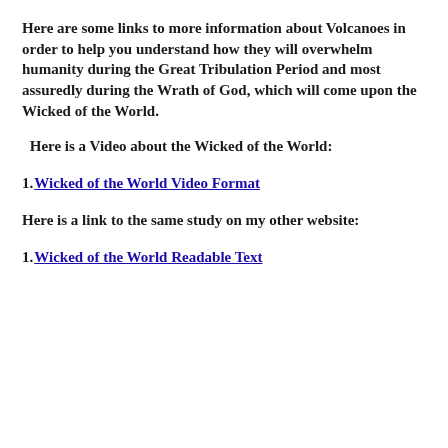Here are some links to more information about Volcanoes in order to help you understand how they will overwhelm humanity during the Great Tribulation Period and most assuredly during the Wrath of God, which will come upon the Wicked of the World.
Here is a Video about the Wicked of the World:
1. Wicked of the World Video Format
Here is a link to the same study on my other website:
1. Wicked of the World Readable Text